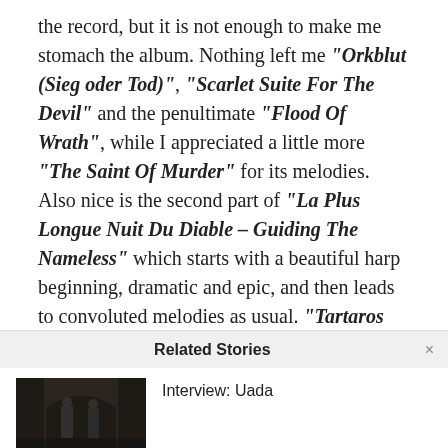the record, but it is not enough to make me stomach the album. Nothing left me "Orkblut (Sieg oder Tod)", "Scarlet Suite For The Devil" and the penultimate "Flood Of Wrath", while I appreciated a little more "The Saint Of Murder" for its melodies. Also nice is the second part of "La Plus Longue Nuit Du Diable – Guiding The Nameless" which starts with a beautiful harp beginning, dramatic and epic, and then leads to convoluted melodies as usual. "Tartaros Tides" has another nice melody but nothing memorable, while I found
Related Stories
[Figure (photo): Black and white photo of band members, likely Uada, standing in a dark stone archway or doorway setting]
Interview: Uada